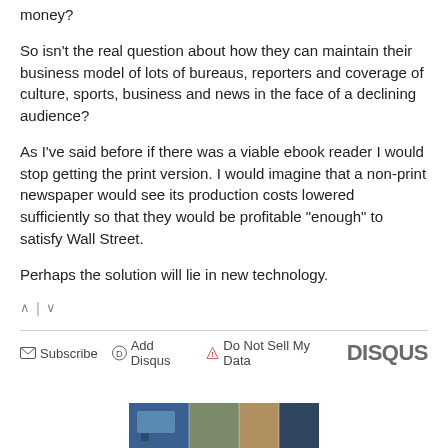money?
So isn't the real question about how they can maintain their business model of lots of bureaus, reporters and coverage of culture, sports, business and news in the face of a declining audience?
As I've said before if there was a viable ebook reader I would stop getting the print version. I would imagine that a non-print newspaper would see its production costs lowered sufficiently so that they would be profitable "enough" to satisfy Wall Street.
Perhaps the solution will lie in new technology.
Subscribe  Add Disqus  Do Not Sell My Data   DISQUS
[Figure (photo): Partial photo strip visible at bottom of page]